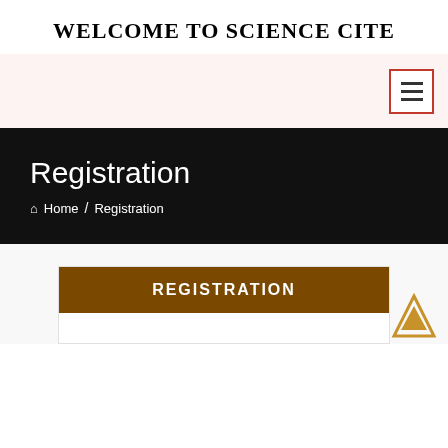WELCOME TO SCIENCE CITE
[Figure (other): Navigation hamburger menu button with three horizontal bars, red border]
Registration
🏠 Home / Registration
REGISTRATION